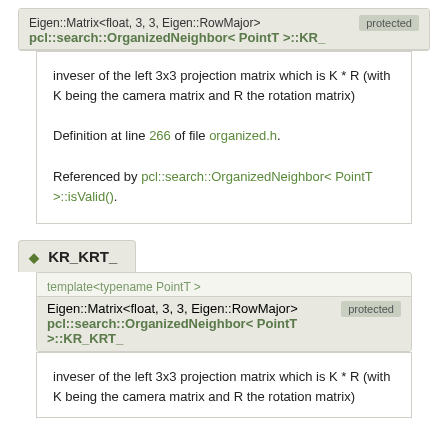Eigen::Matrix<float, 3, 3, Eigen::RowMajor>
pcl::search::OrganizedNeighbor< PointT >::KR_   protected
inveser of the left 3x3 projection matrix which is K * R (with K being the camera matrix and R the rotation matrix)

Definition at line 266 of file organized.h.

Referenced by pcl::search::OrganizedNeighbor< PointT >::isValid().
KR_KRT_
template<typename PointT >
Eigen::Matrix<float, 3, 3, Eigen::RowMajor>
pcl::search::OrganizedNeighbor< PointT >::KR_KRT_   protected
inveser of the left 3x3 projection matrix which is K * R (with K being the camera matrix and R the rotation matrix)